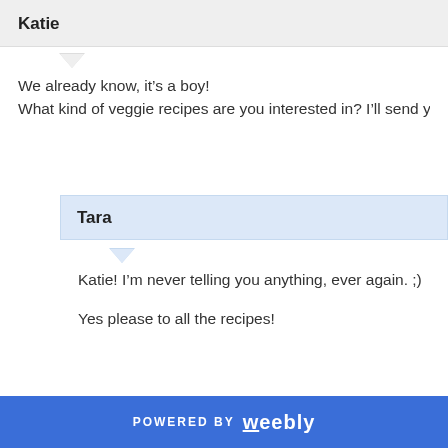Katie
We already know, it's a boy!
What kind of veggie recipes are you interested in? I'll send yo
Tara
Katie! I'm never telling you anything, ever again. ;)

Yes please to all the recipes!
POWERED BY weebly